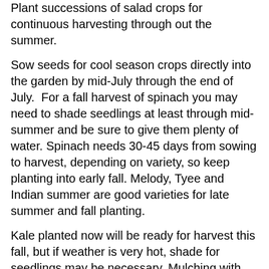Plant successions of salad crops for continuous harvesting through out the summer.
Sow seeds for cool season crops directly into the garden by mid-July through the end of July.  For a fall harvest of spinach you may need to shade seedlings at least through mid-summer and be sure to give them plenty of water.  Spinach needs 30-45 days from sowing to harvest, depending on variety, so keep planting into early fall.  Melody, Tyee and Indian summer are good varieties for late summer and fall planting.
Kale planted now will be ready for harvest this fall, but if weather is very hot, shade for seedlings may be necessary.  Mulching with straw will also help retain moisture.
Sow more green beans and peas by the first part of July for a fall harvest.
By sowing short rooted varieties of carrots such as Little Finger, Gold Nuggets, Sweet and Short and Tiny Sweet in raised beds or containers, it will be possible to get a crop by fall.
Blanch celery about one week before harvesting if you like tender mild-flavored stalks.  Blanching may be achieved by